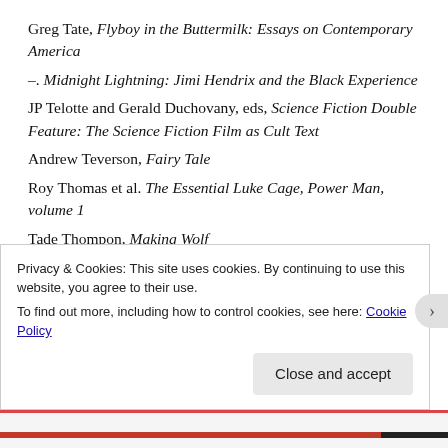Greg Tate, Flyboy in the Buttermilk: Essays on Contemporary America
–. Midnight Lightning: Jimi Hendrix and the Black Experience
JP Telotte and Gerald Duchovany, eds, Science Fiction Double Feature: The Science Fiction Film as Cult Text
Andrew Teverson, Fairy Tale
Roy Thomas et al. The Essential Luke Cage, Power Man, volume 1
Tade Thompon, Making Wolf
–. Rosewater
JRR Tolkien, The Hobbit [truncated]
Privacy & Cookies: This site uses cookies. By continuing to use this website, you agree to their use. To find out more, including how to control cookies, see here: Cookie Policy
Close and accept